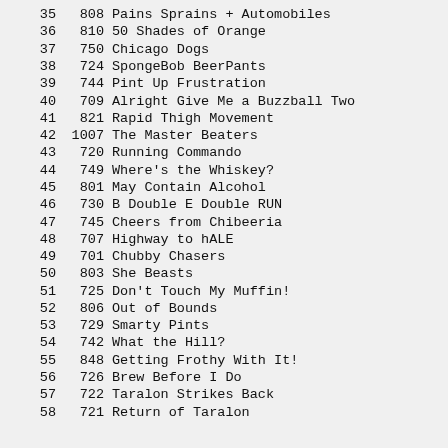| Rank | Score | Team Name |
| --- | --- | --- |
| 35 | 808 | Pains Sprains + Automobiles |
| 36 | 810 | 50 Shades of Orange |
| 37 | 750 | Chicago Dogs |
| 38 | 724 | SpongeBob BeerPants |
| 39 | 744 | Pint Up Frustration |
| 40 | 709 | Alright Give Me a Buzzball Two |
| 41 | 821 | Rapid Thigh Movement |
| 42 | 1007 | The Master Beaters |
| 43 | 720 | Running Commando |
| 44 | 749 | Where's the Whiskey? |
| 45 | 801 | May Contain Alcohol |
| 46 | 730 | B Double E Double RUN |
| 47 | 745 | Cheers from Chibeeria |
| 48 | 707 | Highway to hALE |
| 49 | 701 | Chubby Chasers |
| 50 | 803 | She Beasts |
| 51 | 725 | Don't Touch My Muffin! |
| 52 | 806 | Out of Bounds |
| 53 | 729 | Smarty Pints |
| 54 | 742 | What the Hill? |
| 55 | 848 | Getting Frothy With It! |
| 56 | 726 | Brew Before I Do |
| 57 | 722 | Taralon Strikes Back |
| 58 | 721 | Return of Taralon |